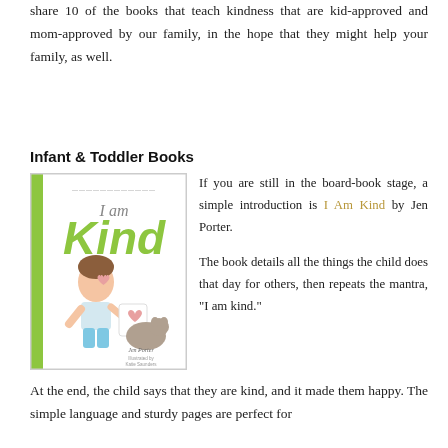share 10 of the books that teach kindness that are kid-approved and mom-approved by our family, in the hope that they might help your family, as well.
Infant & Toddler Books
[Figure (photo): Book cover of 'I am Kind' by Jen Porter, illustrated by Katie Saunders. Shows a child holding a heart drawing with a dog beside them, green title text.]
If you are still in the board-book stage, a simple introduction is I Am Kind by Jen Porter.

The book details all the things the child does that day for others, then repeats the mantra, "I am kind."
At the end, the child says that they are kind, and it made them happy. The simple language and sturdy pages are perfect for